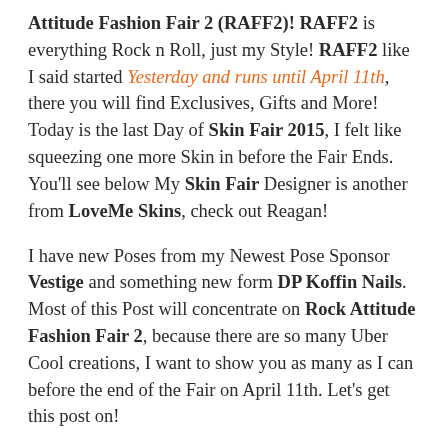Attitude Fashion Fair 2 (RAFF2)! RAFF2 is everything Rock n Roll, just my Style!  RAFF2 like I said started Yesterday and runs until April 11th, there you will find Exclusives, Gifts and More!  Today is the last Day of Skin Fair 2015, I felt like squeezing one more Skin in before the Fair Ends. You'll see below My Skin Fair Designer is another from LoveMe Skins, check out Reagan!
I have new Poses from my Newest Pose Sponsor Vestige and something new form DP Koffin Nails.  Most of this Post will concentrate on Rock Attitude Fashion Fair 2, because there are so many Uber Cool creations, I want to show you as many as I can before the end of the Fair on April 11th.   Let's get this post on!
Lilliana's look consists of  D-Styles Goth Angels Jacket with a Texture Change HUD with 8 Back Textures, 7